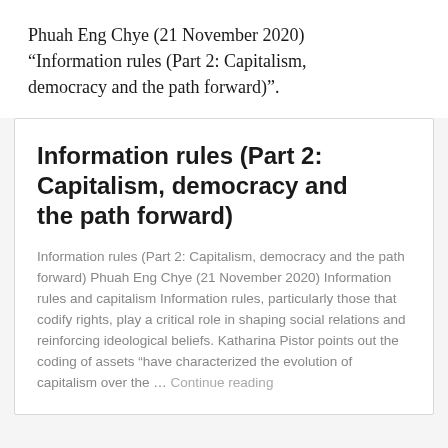Phuah Eng Chye (21 November 2020) “Information rules (Part 2: Capitalism, democracy and the path forward)”.
Information rules (Part 2: Capitalism, democracy and the path forward)
Information rules (Part 2: Capitalism, democracy and the path forward) Phuah Eng Chye (21 November 2020) Information rules and capitalism Information rules, particularly those that codify rights, play a critical role in shaping social relations and reinforcing ideological beliefs. Katharina Pistor points out the coding of assets “have characterized the evolution of capitalism over the … Continue reading